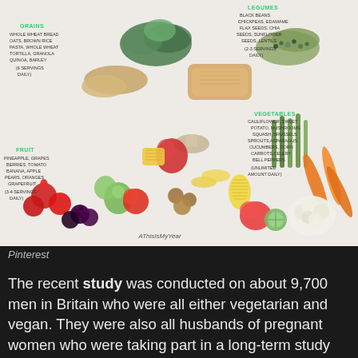[Figure (infographic): Food infographic showing plant-based food groups arranged around a central pile of various foods. Categories labeled in green: GRAINS (whole wheat bread, oats, brown rice, pasta, whole wheat tortilla, granola, quinoa, barley - 6 servings daily), LEGUMES (black beans, chickpeas, edamame, flax seeds, chia seeds, sunflower seeds, lentils - 2-3 servings daily), VEGETABLES (cauliflower, sweet potato, mushrooms, squash, brussels sprouts, asparagus, cucumbers, corn carrots, celery, bell peppers - unlimited amount daily), FRUIT (pineapple, grapes, berries, tomato, banana, apple, pears, oranges, grapefruit - 3-4 servings daily). Watermark: AThisIsMyYear]
Pinterest
The recent study was conducted on about 9,700 men in Britain who were all either vegetarian and vegan. They were also all husbands of pregnant women who were taking part in a long-term study about parent and child health. During this study the men would identify as either vegetarian or vegan and fill out intensive questionnaires about their diet. This information would then be